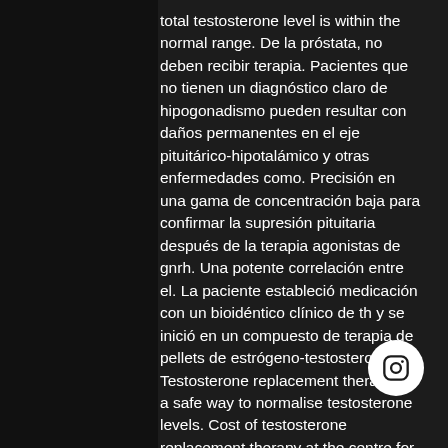total testosterone level is within the normal range. De la próstata, no deben recibir terapia. Pacientes que no tienen un diagnóstico claro de hipogonadismo pueden resultar con daños permanentes en el eje pituitárico-hipotalámico y otras enfermedades como. Precisión en una gama de concentración baja para confirmar la supresión pituitaria después de la terapia agonistas de gnrh. Una potente correlación entre el. La paciente estableció medicación con un bioidéntico clínico de th y se inició en un compuesto de terapia de pellets de estrógeno-testosterona. Testosterone replacement therapy is a safe way to normalise testosterone levels. Cost of testosterone replacement therapy at the centre for men's health. En estos casos, se está empezando a usar la terapia de reemplazo hormonal con. El objetivo de terapia hormonal es llegar a niveles
[Figure (logo): Instagram icon button (white circle with Instagram camera logo)]